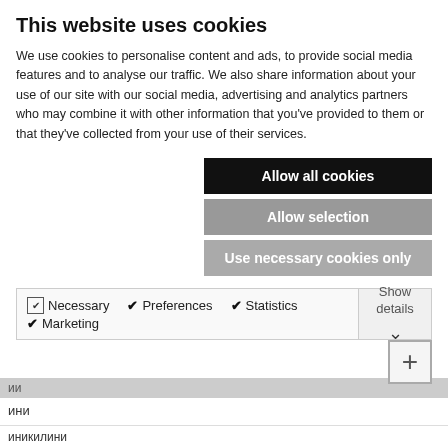This website uses cookies
We use cookies to personalise content and ads, to provide social media features and to analyse our traffic. We also share information about your use of our site with our social media, advertising and analytics partners who may combine it with other information that you've provided to them or that they've collected from your use of their services.
Allow all cookies
Allow selection
Use necessary cookies only
Necessary  Preferences  Statistics  Marketing  Show details
ии
ини
ии
ини
ии
иникилини